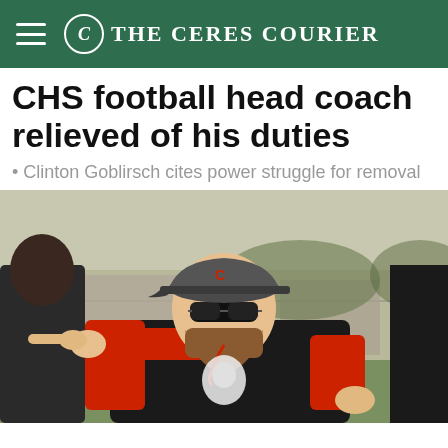The Ceres Courier
CHS football head coach relieved of his duties
• Clinton Goblirsch cites power struggle for removal
[Figure (photo): A football coach wearing a black and red shirt, sunglasses, and a grey cap with the letter C, pointing to the side on a grass field. He has a beard and is wearing a whistle around his neck.]